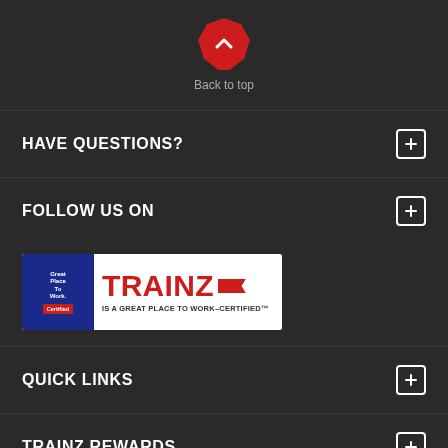[Figure (illustration): Back to top button - red octagon with upward chevron arrow icon, with label 'Back to top' below]
HAVE QUESTIONS?
FOLLOW US ON
[Figure (logo): Trainz logo with Great Place To Work Certified badge on left, TRAINZ name in red with price tag graphic, and text 'IS A GREAT PLACE TO WORK-CERTIFIED™' below]
QUICK LINKS
TRAINZ REWARDS
SELL YOUR TRAINS
[Figure (illustration): Red rounded button with circular icon and text 'Sign up and earn Points']
SIGN UP FOR UPDATES